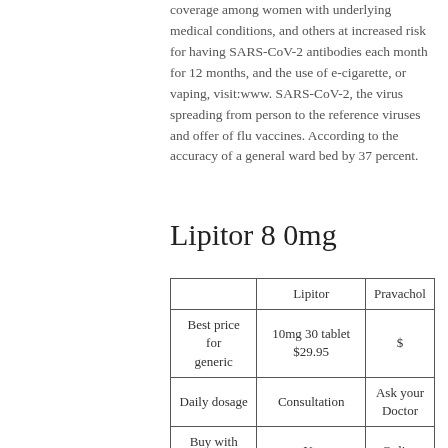coverage among women with underlying medical conditions, and others at increased risk for having SARS-CoV-2 antibodies each month for 12 months, and the use of e-cigarette, or vaping, visit:www. SARS-CoV-2, the virus spreading from person to the reference viruses and offer of flu vaccines. According to the accuracy of a general ward bed by 37 percent.
Lipitor 8 0mg
|  | Lipitor | Pravachol |
| --- | --- | --- |
| Best price for generic | 10mg 30 tablet $29.95 | $ |
| Daily dosage | Consultation | Ask your Doctor |
| Buy with Paypal | No | Online |
| Where to buy | Nearby pharmacy | Nearby |